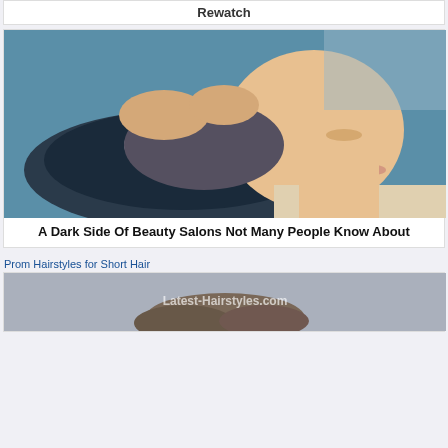Rewatch
[Figure (photo): Woman having her hair washed at a salon sink by a stylist's hands, eyes closed, leaning back into a dark basin]
A Dark Side Of Beauty Salons Not Many People Know About
Prom Hairstyles for Short Hair
[Figure (photo): Partial view of a person with short curly brown hair, with Latest-Hairstyles.com watermark]